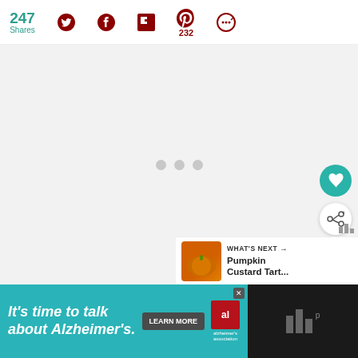247 Shares | Twitter | Facebook | Flipboard | Pinterest 232 | Share
[Figure (screenshot): Loading content area with three grey dots indicating loading state, with heart and share floating action buttons on the right side, and a 'What's Next' panel showing Pumpkin Custard Tart...]
[Figure (infographic): Advertisement banner: It's time to talk about Alzheimer's. LEARN MORE button, Alzheimer's Association logo, and a media company logo on black background]